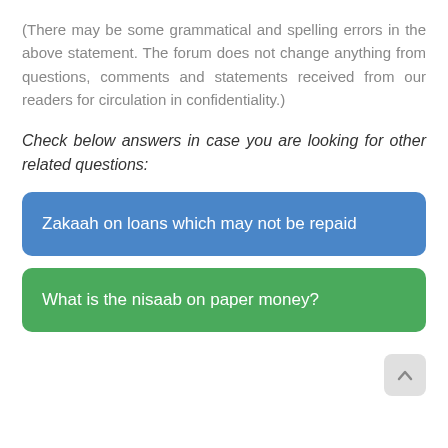(There may be some grammatical and spelling errors in the above statement. The forum does not change anything from questions, comments and statements received from our readers for circulation in confidentiality.)
Check below answers in case you are looking for other related questions:
Zakaah on loans which may not be repaid
What is the nisaab on paper money?